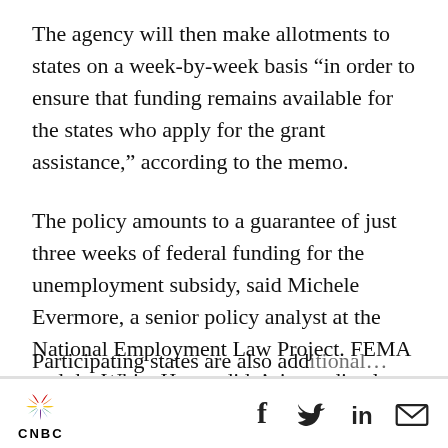The agency will then make allotments to states on a week-by-week basis “in order to ensure that funding remains available for the states who apply for the grant assistance,” according to the memo.
The policy amounts to a guarantee of just three weeks of federal funding for the unemployment subsidy, said Michele Evermore, a senior policy analyst at the National Employment Law Project. FEMA and the White House didn’t immediately respond to a request for comment.
CNBC [logo] [social icons: Facebook, Twitter, LinkedIn, Email]